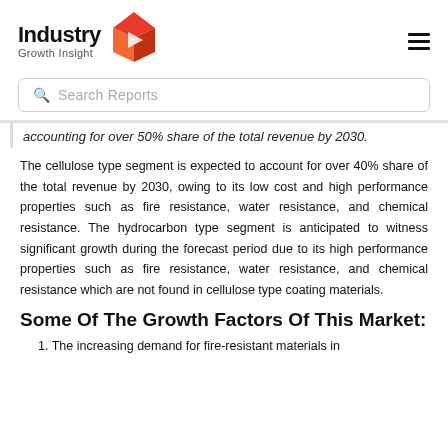Industry Growth Insight
Search Reports
accounting for over 50% share of the total revenue by 2030.
The cellulose type segment is expected to account for over 40% share of the total revenue by 2030, owing to its low cost and high performance properties such as fire resistance, water resistance, and chemical resistance. The hydrocarbon type segment is anticipated to witness significant growth during the forecast period due to its high performance properties such as fire resistance, water resistance, and chemical resistance which are not found in cellulose type coating materials.
Some Of The Growth Factors Of This Market:
1. The increasing demand for fire-resistant materials in